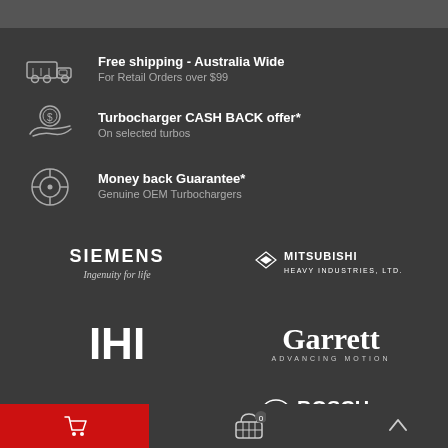Free shipping - Australia Wide
For Retail Orders over $99
Turbocharger CASH BACK offer*
On selected turbos
Money back Guarantee*
Genuine OEM Turbochargers
[Figure (logo): Siemens - Ingenuity for life logo]
[Figure (logo): Mitsubishi Heavy Industries, Ltd. logo]
[Figure (logo): IHI logo]
[Figure (logo): Garrett Advancing Motion logo]
[Figure (logo): Holset logo]
[Figure (logo): Bosch - Invented for life logo]
[Figure (logo): BorgWarner logo (partially visible)]
[Figure (logo): Schwitzer/other logo (partially visible)]
Shopping cart | Basket 0 | Scroll up